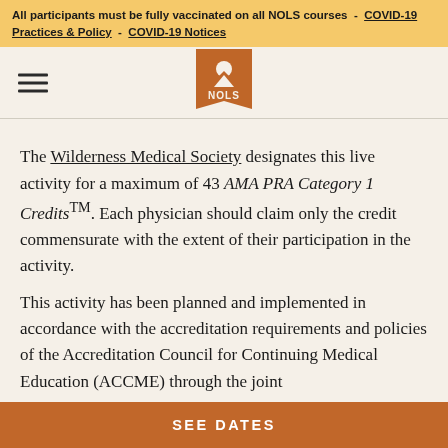All participants must be fully vaccinated on all NOLS courses - COVID-19 Practices & Policy - COVID-19 Notices
[Figure (logo): NOLS logo — orange pennant banner with mountain/sunrise icon and 'NOLS' text]
The Wilderness Medical Society designates this live activity for a maximum of 43 AMA PRA Category 1 Credits™. Each physician should claim only the credit commensurate with the extent of their participation in the activity.
This activity has been planned and implemented in accordance with the accreditation requirements and policies of the Accreditation Council for Continuing Medical Education (ACCME) through the joint
SEE DATES